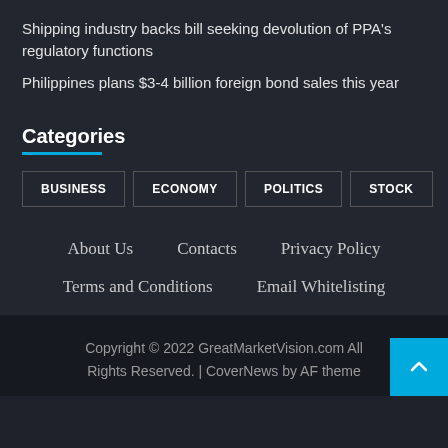Shipping industry backs bill seeking devolution of PPA's regulatory functions
Philippines plans $3-4 billion foreign bond sales this year
Categories
BUSINESS
ECONOMY
POLITICS
STOCK
About Us   Contacts   Privacy Policy
Terms and Conditions   Email Whitelisting
Copyright © 2022 GreatMarketVision.com Rights Reserved. | CoverNews by AF theme